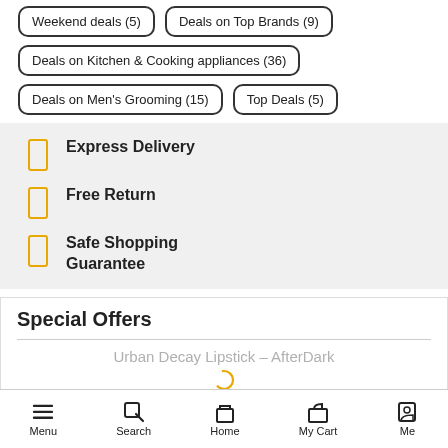Weekend deals (5)
Deals on Top Brands (9)
Deals on Kitchen & Cooking appliances (36)
Deals on Men's Grooming (15)
Top Deals (5)
Express Delivery
Free Return
Safe Shopping Guarantee
Special Offers
Urban Decay Lipstick – AfterDark
Menu  Search  Home  My Cart  Me